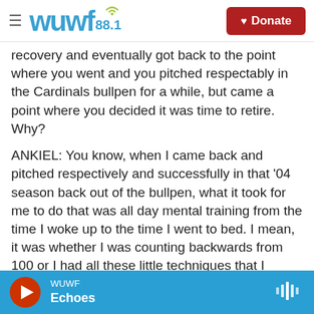WUWF 88.1 | Donate
recovery and eventually got back to the point where you went and you pitched respectably in the Cardinals bullpen for a while, but came a point where you decided it was time to retire. Why?
ANKIEL: You know, when I came back and pitched respectively and successfully in that '04 season back out of the bullpen, what it took for me to do that was all day mental training from the time I woke up to the time I went to bed. I mean, it was whether I was counting backwards from 100 or I had all these little techniques that I would do, I really became a shell of a person of who I was
WUWF | Echoes